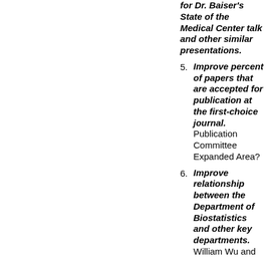for Dr. Baiser's State of the Medical Center talk and other similar presentations.
Improve percent of papers that are accepted for publication at the first-choice journal. Publication Committee Expanded Area?
Improve relationship between the Department of Biostatistics and other key departments. William Wu and